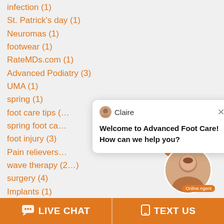infection (1)
St. Patrick's day (1)
Neuromas (1)
footwear (1)
RateMDs.com (1)
Advanced Podiatry (3)
UMA (1)
spring (1)
foot care tips (…)
spring foot ca…
foot injury (3)
Pain relievers…
wave therapy (2…)
surgery (4)
Implants (1)
foot surgery (3)
sports (2)
Home Remedies (2)
[Figure (screenshot): Live chat popup with agent named Claire, message: Welcome to Advanced Foot Care! How can we help you?, with online agent avatar and notification badge showing 1]
LIVE CHAT | TEXT US